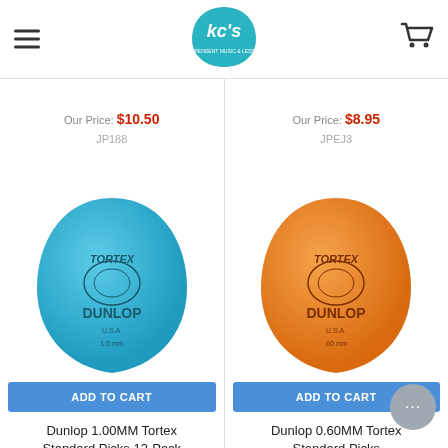KC's — hamburger menu, logo, cart icon
Our Price: $10.50
JP188
Our Price: $8.95
JPEJ3
[Figure (photo): Blue Dunlop Tortex Standard guitar pick, 1.0mm]
[Figure (photo): Orange Dunlop Tortex Standard guitar pick, 0.60mm]
ADD TO CART
ADD TO CART
Dunlop 1.00MM Tortex Standard Picks 12-Pack
Dunlop
Our Price: $10.50
Dunlop 0.60MM Tortex Standard Picks
Dunlop
Our Price: $10.50